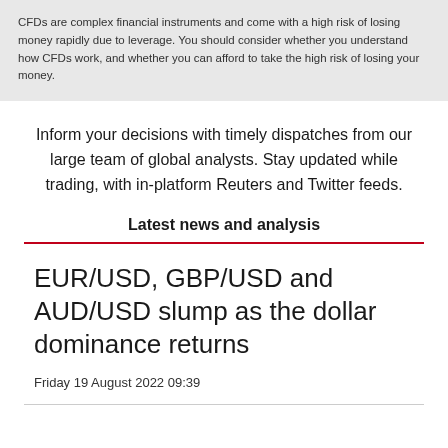CFDs are complex financial instruments and come with a high risk of losing money rapidly due to leverage. You should consider whether you understand how CFDs work, and whether you can afford to take the high risk of losing your money.
Inform your decisions with timely dispatches from our large team of global analysts. Stay updated while trading, with in-platform Reuters and Twitter feeds.
Latest news and analysis
EUR/USD, GBP/USD and AUD/USD slump as the dollar dominance returns
Friday 19 August 2022 09:39